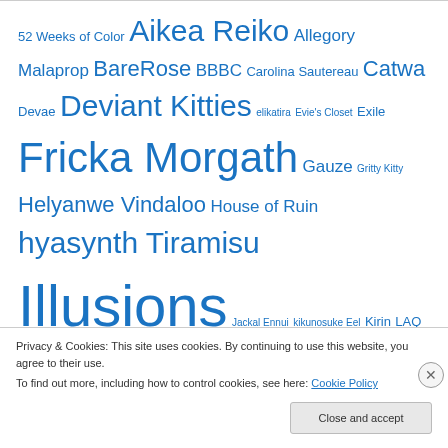52 Weeks of Color Aikea Reiko Allegory Malaprop BareRose BBBC Carolina Sautereau Catwa Devae Deviant Kitties elikatira Evie's Closet Exile Fricka Morgath Gauze Gritty Kitty Helyanwe Vindaloo House of Ruin hyasynth Tiramisu Illusions Jackal Ennui kikunosuke Eel Kirin LAQ Lassitude & Ennui Lolapop! Magika Maitreya Mallory Cowen Mandala Marukin Onyx LeShelle QUEENshop Rue Ruina Kessel Schadenfreude Second
Privacy & Cookies: This site uses cookies. By continuing to use this website, you agree to their use. To find out more, including how to control cookies, see here: Cookie Policy
Close and accept